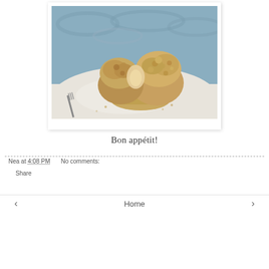[Figure (photo): A muffin split in half, showing crumbly streusel topping, placed on a white napkin or paper, with a fork visible, bluish-grey background]
Bon appétit!
Nea at 4:08 PM    No comments:
Share
‹   Home   ›